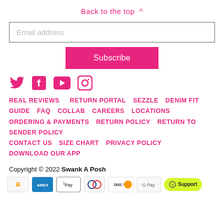Back to the top ^
Email address
Subscribe
[Figure (infographic): Social media icons: Twitter, Facebook, YouTube, Instagram in pink/hot-pink color]
REAL REVIEWS   RETURN PORTAL   SEZZLE   DENIM FIT GUIDE   FAQ   COLLAB   CAREERS   LOCATIONS   ORDERING & PAYMENTS   RETURN POLICY   RETURN TO SENDER POLICY   CONTACT US   SIZE CHART   PRIVACY POLICY   DOWNLOAD OUR APP
Copyright © 2022 Swank A Posh
[Figure (infographic): Payment icons: Amazon, Amex, Apple Pay, Diners Club, Discover, Google Pay, and a Support button]